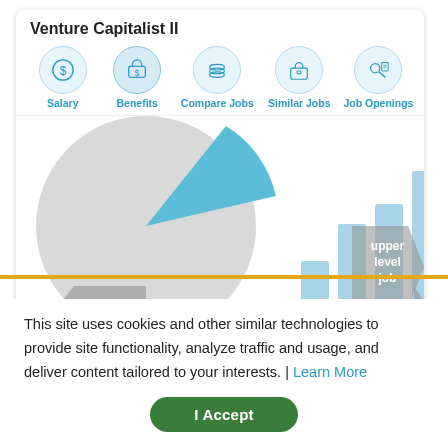Venture Capitalist II
[Figure (infographic): Navigation icons row: Salary (dollar coin), Benefits (wallet), Compare Jobs (stacked layers), Similar Jobs (briefcase), Job Openings (person with magnifier)]
[Figure (other): Salary comparison visualization: large grey pie/donut chart on left with a blue highlighted segment, and a bar chart on the right with 5 light blue bars of increasing height. Arrow chevrons on sides labeled 'lower level job' and 'upper level job'.]
This site uses cookies and other similar technologies to provide site functionality, analyze traffic and usage, and deliver content tailored to your interests. | Learn More
I Accept